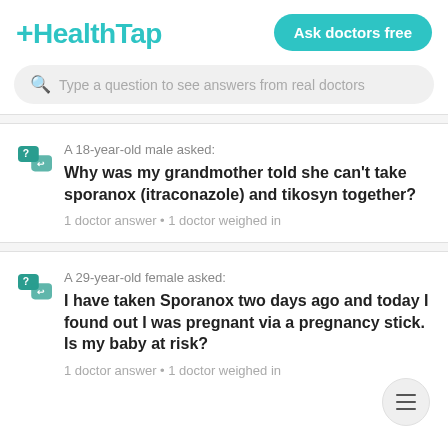[Figure (logo): HealthTap logo in teal/cyan color with a plus sign prefix]
Ask doctors free
Type a question to see answers from real doctors
A 18-year-old male asked:
Why was my grandmother told she can't take sporanox (itraconazole) and tikosyn together?
1 doctor answer • 1 doctor weighed in
A 29-year-old female asked:
I have taken Sporanox two days ago and today I found out I was pregnant via a pregnancy stick. Is my baby at risk?
1 doctor answer • 1 doctor weighed in